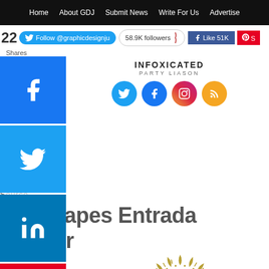Home | About GDJ | Submit News | Write For Us | Advertise
22 Shares | Follow @graphicdesignju | 58.9K followers | Like 51K
INFOXICATED PARTY LIASON
[Figure (infographic): Social media sidebar with Facebook, Twitter, LinkedIn, Pinterest share buttons and a more button]
Softscapes Entrada Runner
[Figure (logo): Circular sun/starburst logo with letter E in the center, gold/olive color on white background]